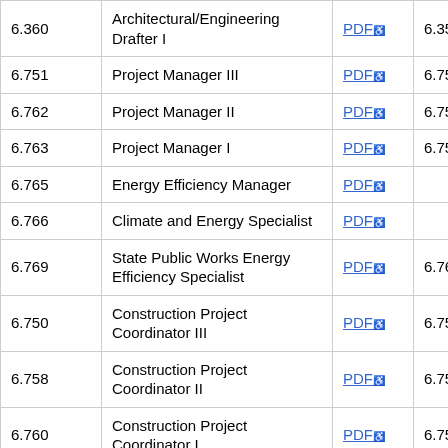| Code | Title | PDF | Ref |  |
| --- | --- | --- | --- | --- |
| 6.360 | Architectural/Engineering Drafter I | PDF | 6.355 | 2... |
| 6.751 | Project Manager III | PDF | 6.751 | 4... |
| 6.762 | Project Manager II | PDF | 6.751 | 4... |
| 6.763 | Project Manager I | PDF | 6.751 | 3... |
| 6.765 | Energy Efficiency Manager | PDF |  | 3... |
| 6.766 | Climate and Energy Specialist | PDF |  | 3... |
| 6.769 | State Public Works Energy Efficiency Specialist | PDF | 6.769 | 3... |
| 6.750 | Construction Project Coordinator III | PDF | 6.750 | 3... |
| 6.758 | Construction Project Coordinator II | PDF | 6.750 | 3... |
| 6.760 | Construction Project Coordinator I | PDF | 6.750 | 3... |
| 6.752 | Chief Building Inspector | PDF | 6.752 | (3... |